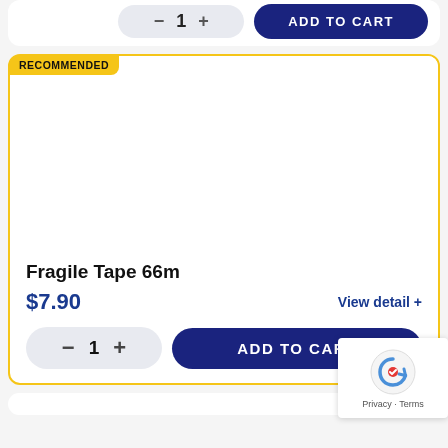[Figure (screenshot): Partial product card top — quantity selector and ADD TO CART button]
RECOMMENDED
[Figure (photo): Product image area for Fragile Tape 66m — white/blank area inside yellow-bordered recommended card]
Fragile Tape 66m
$7.90
View detail +
- 1 +
ADD TO CART
Privacy · Terms